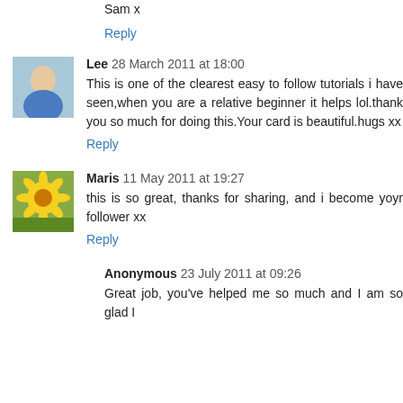Sam x
Reply
Lee 28 March 2011 at 18:00
This is one of the clearest easy to follow tutorials i have seen,when you are a relative beginner it helps lol.thank you so much for doing this.Your card is beautiful.hugs xx
Reply
Maris 11 May 2011 at 19:27
this is so great, thanks for sharing, and i become yoyr follower xx
Reply
Anonymous 23 July 2011 at 09:26
Great job, you've helped me so much and I am so glad I